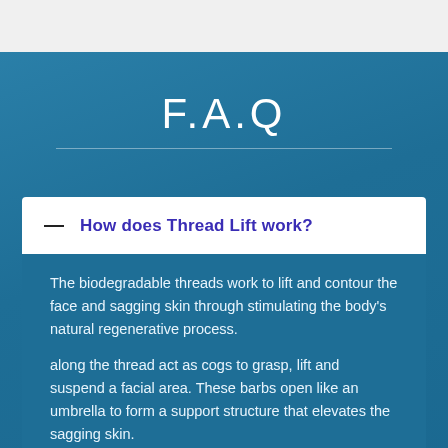F.A.Q
How does Thread Lift work?
The biodegradable threads work to lift and contour the face and sagging skin through stimulating the body's natural regenerative process.
...along the thread act as cogs to grasp, lift and suspend a facial area. These barbs open like an umbrella to form a support structure that elevates the sagging skin.
The process elicits the growth of new collagen which surrounds